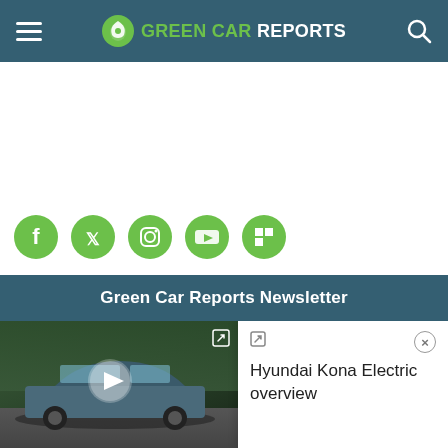Green Car Reports
[Figure (screenshot): Social media icons row: Facebook, Twitter, Instagram, YouTube, Flipboard — all green rounded square icons]
Green Car Reports Newsletter
[Figure (screenshot): Video player showing a Hyundai Kona Electric car driving through a forest, with a play button overlay and a popup card showing 'Hyundai Kona Electric overview']
Hyundai Kona Electric overview